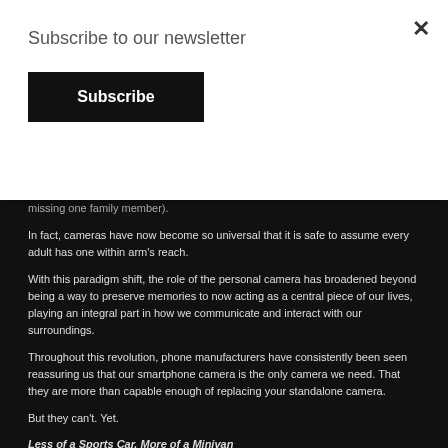Subscribe to our newsletter
Subscribe
missing one family member).
In fact, cameras have now become so universal that it is safe to assume every adult has one within arm's reach.
With this paradigm shift, the role of the personal camera has broadened beyond being a way to preserve memories to now acting as a central piece of our lives, playing an integral part in how we communicate and interact with our surroundings.
Throughout this revolution, phone manufacturers have consistently been seen reassuring us that our smartphone camera is the only camera we need. That they are more than capable enough of replacing your standalone camera.
But they can't. Yet.
Less of a Sports Car, More of a Minivan